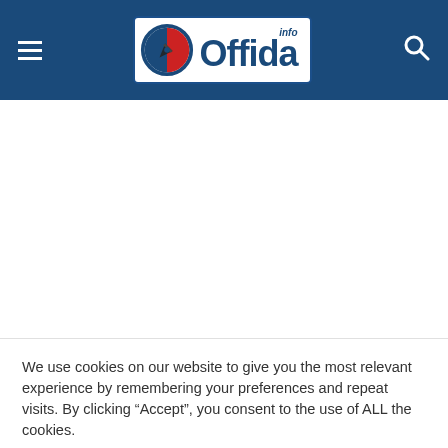Offida.info — website header with navigation hamburger menu, logo, and search icon
[Figure (logo): Offida.info logo: circular icon with Italian flag colors and a pen/quill, beside bold blue text 'Offida' with superscript 'info']
We use cookies on our website to give you the most relevant experience by remembering your preferences and repeat visits. By clicking “Accept”, you consent to the use of ALL the cookies.
IMPOSTAZIONI   ACCETTA